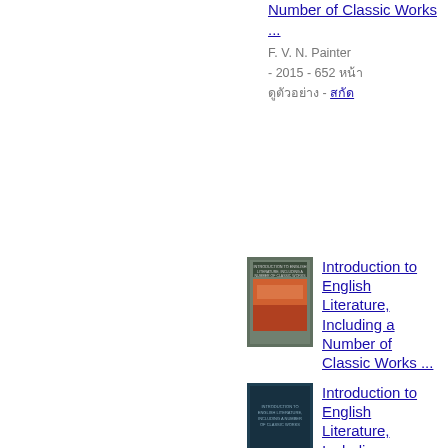Number of Classic Works ...
F. V. N. Painter - 2015 - 652 หน้า - ดูตัวอย่าง
[Figure (photo): Book cover of Introduction to English Literature, Including a Number of Classic Works - colorful cover with orange/red image]
Introduction to English Literature, Including a Number of Classic Works ...
Franklin Verzelius Newton Painter - 2013 - 196 หน้า - ดูตัวอย่าง
[Figure (photo): Book cover of Introduction to English Literature - dark teal/blue cover]
Introduction to English Literature, Including a